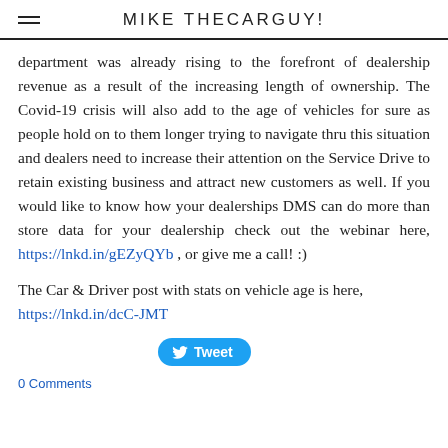MIKE THECARGUY!
department was already rising to the forefront of dealership revenue as a result of the increasing length of ownership. The Covid-19 crisis will also add to the age of vehicles for sure as people hold on to them longer trying to navigate thru this situation and dealers need to increase their attention on the Service Drive to retain existing business and attract new customers as well. If you would like to know how your dealerships DMS can do more than store data for your dealership check out the webinar here, https://lnkd.in/gEZyQYb , or give me a call! :)
The Car & Driver post with stats on vehicle age is here, https://lnkd.in/dcC-JMT
[Figure (other): Tweet button]
0 Comments